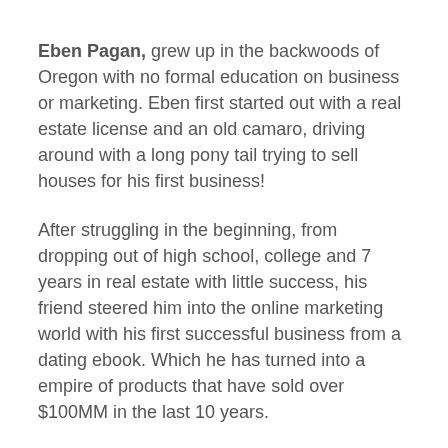Eben Pagan, grew up in the backwoods of Oregon with no formal education on business or marketing. Eben first started out with a real estate license and an old camaro, driving around with a long pony tail trying to sell houses for his first business!
After struggling in the beginning, from dropping out of high school, college and 7 years in real estate with little success, his friend steered him into the online marketing world with his first successful business from a dating ebook. Which he has turned into a empire of products that have sold over $100MM in the last 10 years.
This interview Eben will unlock some of the biggest marketing formulas for you to Accelerate and Explode your business.